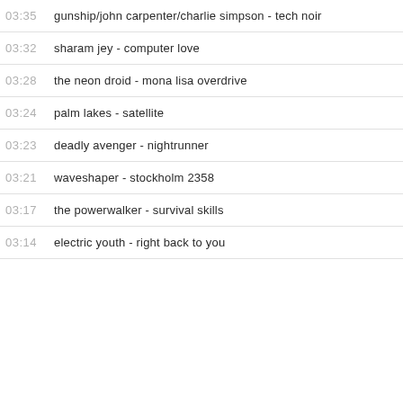03:35  gunship/john carpenter/charlie simpson - tech noir
03:32  sharam jey - computer love
03:28  the neon droid - mona lisa overdrive
03:24  palm lakes - satellite
03:23  deadly avenger - nightrunner
03:21  waveshaper - stockholm 2358
03:17  the powerwalker - survival skills
03:14  electric youth - right back to you